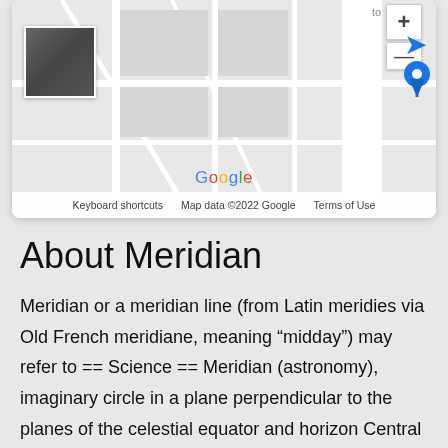[Figure (screenshot): Google Maps embed showing a street map with zoom controls (+/-), a satellite thumbnail, Google logo, map attribution footer ('Keyboard shortcuts', 'Map data ©2022 Google', 'Terms of Use'), and a blue location pin.]
About Meridian
Meridian or a meridian line (from Latin meridies via Old French meridiane, meaning "midday") may refer to == Science == Meridian (astronomy), imaginary circle in a plane perpendicular to the planes of the celestial equator and horizon Central meridian (planets) Meridian (geography), an imaginary arc on the Earth's surface from the North Pole to the South Pole Meridian arc, the distance between two points with the same longitude